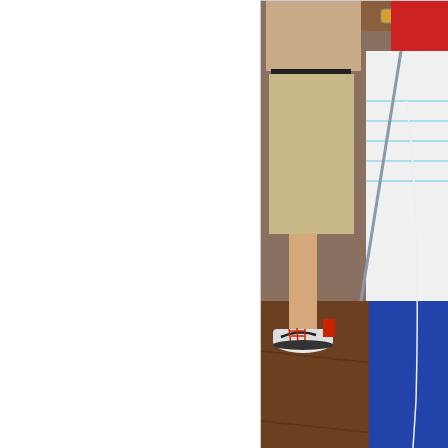[Figure (photo): Photo of a student's lower body showing khaki shorts and red-laced Nike Air Jordan sneakers on a wooden floor, with another person in jeans and white t-shirt with earbuds visible at right]
Manchester Central student flexes hi... Ma...
[Figure (photo): Close-up photo of what appears to be a display case or shelf with white circular objects (possibly CDs, plates, or discs) and yellow packaging or material visible]